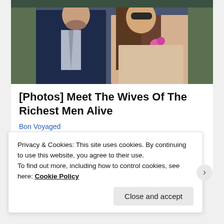[Figure (photo): Two people sitting together — a man in a dark navy suit with a light tie, and a woman with long brown hair wearing a light sparkly/lace outfit with a pink floral corsage, both seated, appearing to be at an event like Wimbledon.]
[Photos] Meet The Wives Of The Richest Men Alive
Bon Voyaged
Posted in Book Covers, Cover Reveal, November 2015 | Tagged 18+, Author, Books, Cover Reaveal, Jade West |
Leave a reply
Privacy & Cookies: This site uses cookies. By continuing to use this website, you agree to their use.
To find out more, including how to control cookies, see here: Cookie Policy